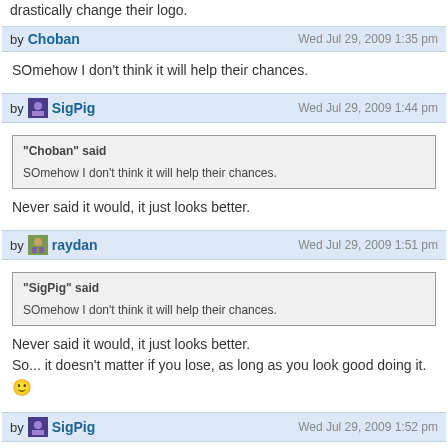drastically change their logo.
by Choban  Wed Jul 29, 2009 1:35 pm
SOmehow I don't think it will help their chances.
by SigPig  Wed Jul 29, 2009 1:44 pm
"Choban" said
SOmehow I don't think it will help their chances.
Never said it would, it just looks better.
by raydan  Wed Jul 29, 2009 1:51 pm
"SigPig" said
SOmehow I don't think it will help their chances.
Never said it would, it just looks better.
So... it doesn't matter if you lose, as long as you look good doing it.
by SigPig  Wed Jul 29, 2009 1:52 pm